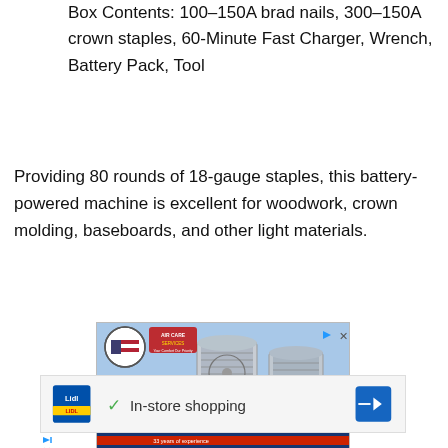Box Contents: 100–150A brad nails, 300–150A crown staples, 60-Minute Fast Charger, Wrench, Battery Pack, Tool
Providing 80 rounds of 18-gauge staples, this battery-powered machine is excellent for woodwork, crown molding, baseboards, and other light materials.
[Figure (photo): Advertisement for a local HVAC company showing two outdoor AC/heat pump units with text 'LOCALLY OWNED AND OPERATED' and '33 years of experience', listing services like Heating & Air Conditioning, Whole House Renovation, Gas Logs & Gas Fireplaces, Water Heaters, Sales, Service & Financing. Phone number 540-399-4045, FixMyAir.com]
[Figure (screenshot): Advertisement for Lidl showing the Lidl logo, a green checkmark icon, and text 'In-store shopping' with a blue navigation/directions button.]